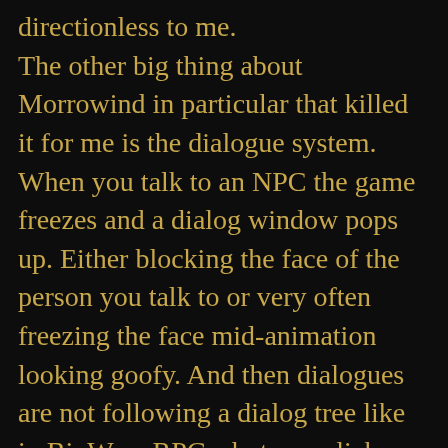directionless to me. The other big thing about Morrowind in particular that killed it for me is the dialogue system. When you talk to an NPC the game freezes and a dialog window pops up. Either blocking the face of the person you talk to or very often freezing the face mid-animation looking goofy. And then dialogues are not following a dialog tree like in BioWare RPGs, but you click on a word to get more information on that topic. It all really doesn't feel at all like you're talking to someone, you're browsing wikipedia. Which given all the NPCs an almost total lack of individual personalty. And your own character doesn't even have any lines at all. The result is that